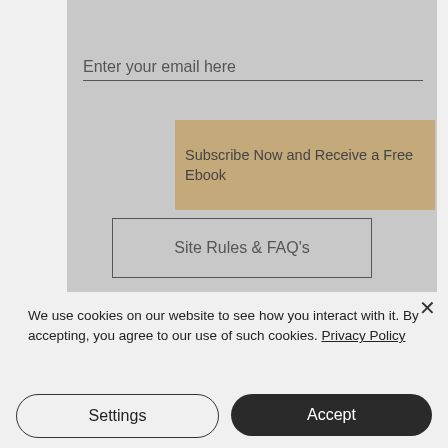[Figure (screenshot): Gray panel showing an email subscription form with placeholder text 'Enter your email here', a horizontal underline, a tan/gold colored button reading 'Subscribe Now and Receive a Free Ebook', and a bordered button reading 'Site Rules & FAQ's']
Enter your email here
Subscribe Now and Receive a Free Ebook
Site Rules & FAQ's
We use cookies on our website to see how you interact with it. By accepting, you agree to our use of such cookies. Privacy Policy
Settings
Accept